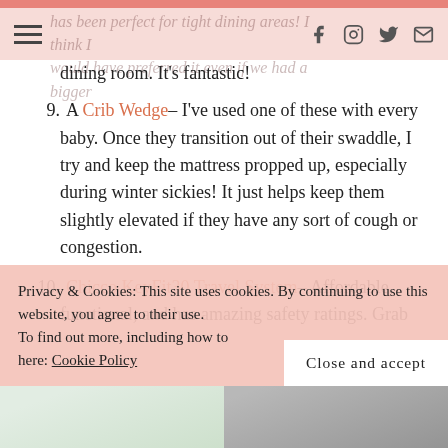has been perfect for tight dining areas! I think I would have preferred it even if we had a bigger dining room. It's fantastic!
9. A Crib Wedge– I've used one of these with every baby. Once they transition out of their swaddle, I try and keep the mattress propped up, especially during winter sickies! It just helps keep them slightly elevated if they have any sort of cough or congestion.
10. Chicco KeyFit30 Travel System– Affordable, functional, and has amazing safety ratings. Grab
Privacy & Cookies: This site uses cookies. By continuing to use this website, you agree to their use. To find out more, including how to control cookies, see here: Cookie Policy
[Figure (photo): Bottom strip showing partial image of plants/items on the left and a dark background on the right]